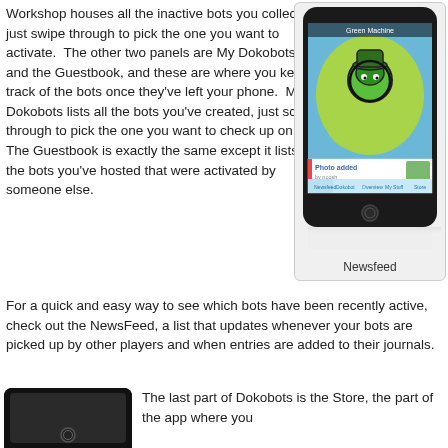Workshop houses all the inactive bots you collect - just swipe through to pick the one you want to activate. The other two panels are My Dokobots and the Guestbook, and these are where you keep track of the bots once they've left your phone. My Dokobots lists all the bots you've created, just scroll through to pick the one you want to check up on. The Guestbook is exactly the same except it lists the bots you've hosted that were activated by someone else.
[Figure (screenshot): Screenshot of Dokobots app showing Newsfeed screen with Green Machine bot on a map of North America, a photo added notification, and navigation tabs at the bottom.]
Newsfeed
For a quick and easy way to see which bots have been recently active, check out the NewsFeed, a list that updates whenever your bots are picked up by other players and when entries are added to their journals.
[Figure (screenshot): Bottom portion of a smartphone showing the Store section of the Dokobots app.]
The last part of Dokobots is the Store, the part of the app where you